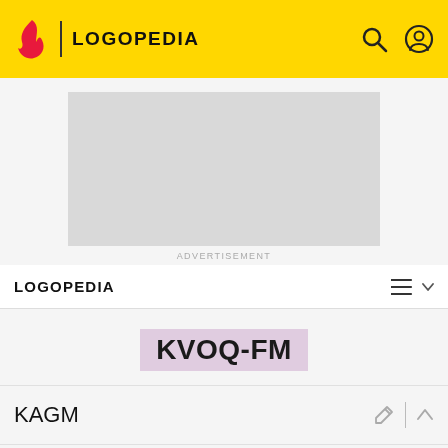LOGOPEDIA
[Figure (other): Advertisement placeholder (gray rectangle)]
ADVERTISEMENT
LOGOPEDIA
KVOQ-FM
KAGM
KJEB